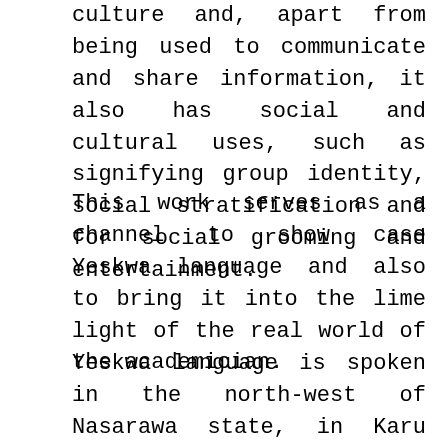culture and, apart from being used to communicate and share information, it also has social and cultural uses, such as signifying group identity, social stratification and for social grooming and entertainment.
This work serves as a channel to show case Yeskwa language and also to bring it into the lime light of the real world of the academician.
Yeskwa language is spoken in the north-west of Nasarawa state, in Karu local government area and Kaduna state in Jema’a local government area, all in the